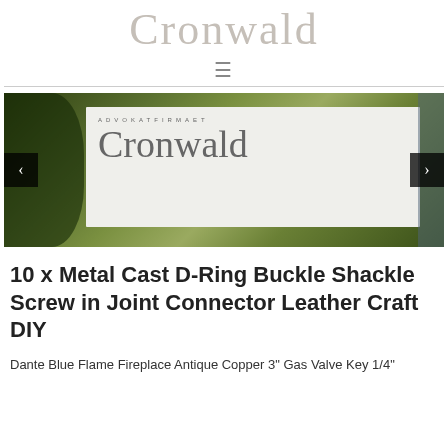Cronwald
[Figure (photo): Photo of Advokatfirmaet Cronwald building sign with green leaves in foreground. Left and right navigation arrows visible.]
10 x Metal Cast D-Ring Buckle Shackle Screw in Joint Connector Leather Craft DIY
Dante Blue Flame Fireplace Antique Copper 3" Gas Valve Key 1/4"